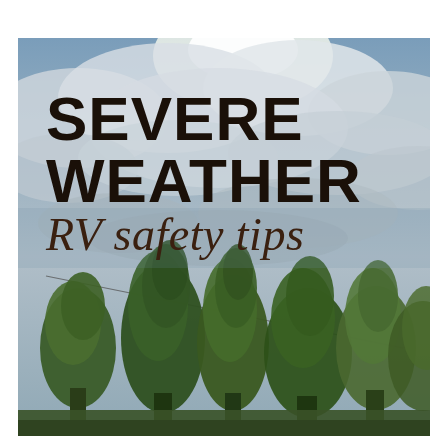[Figure (photo): Outdoor photo showing dramatic cloudy sky with sunlight breaking through, and several tall green trees (poplar/cottonwood) in the foreground lower half. A diagonal power line crosses the mid-section of the image. The sky is blue-grey with large cumulus clouds. Text overlaid reads 'SEVERE WEATHER RV safety tips'.]
SEVERE WEATHER RV safety tips